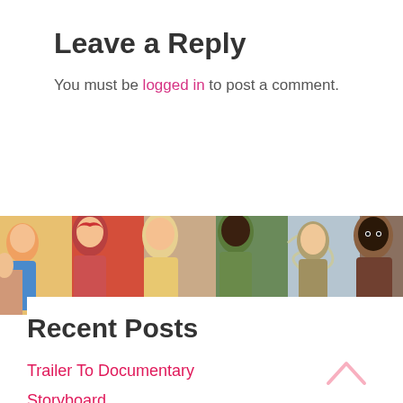Leave a Reply
You must be logged in to post a comment.
[Figure (illustration): Horizontal banner of colorful anime characters collage — characters with orange hair, wings, and various costumes on a multicolored background]
Recent Posts
Trailer To Documentary
Storyboard
Voiceover
OC (Original Character or Other Character)
Fangirling/boying